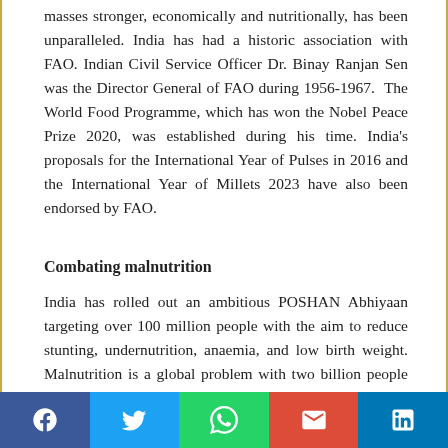masses stronger, economically and nutritionally, has been unparalleled. India has had a historic association with FAO. Indian Civil Service Officer Dr. Binay Ranjan Sen was the Director General of FAO during 1956-1967. The World Food Programme, which has won the Nobel Peace Prize 2020, was established during his time. India's proposals for the International Year of Pulses in 2016 and the International Year of Millets 2023 have also been endorsed by FAO.
Combating malnutrition
India has rolled out an ambitious POSHAN Abhiyaan targeting over 100 million people with the aim to reduce stunting, undernutrition, anaemia, and low birth weight. Malnutrition is a global problem with two billion people suffering from micronutrient deficiency. Nearly 45% of deaths among children are linked to malnutrition.